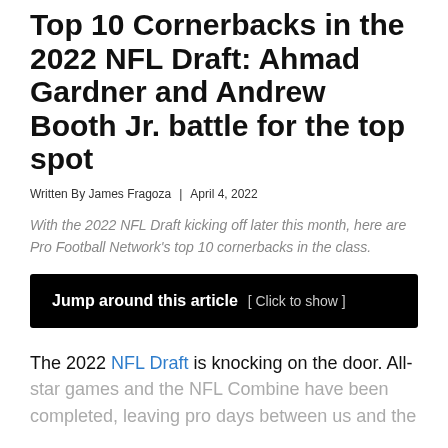Top 10 Cornerbacks in the 2022 NFL Draft: Ahmad Gardner and Andrew Booth Jr. battle for the top spot
Written By James Fragoza | April 4, 2022
With the 2022 NFL Draft kicking off later this month, here are Pro Football Network's top 10 cornerbacks in the class.
Jump around this article [ Click to show ]
The 2022 NFL Draft is knocking on the door. All-star games and the NFL Combine have been completed, leaving pro days between us and the